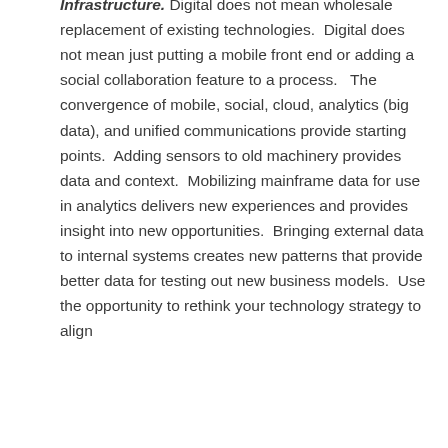Infrastructure. Digital does not mean wholesale replacement of existing technologies.  Digital does not mean just putting a mobile front end or adding a social collaboration feature to a process.   The convergence of mobile, social, cloud, analytics (big data), and unified communications provide starting points.  Adding sensors to old machinery provides data and context.  Mobilizing mainframe data for use in analytics delivers new experiences and provides insight into new opportunities.  Bringing external data to internal systems creates new patterns that provide better data for testing out new business models.  Use the opportunity to rethink your technology strategy to align